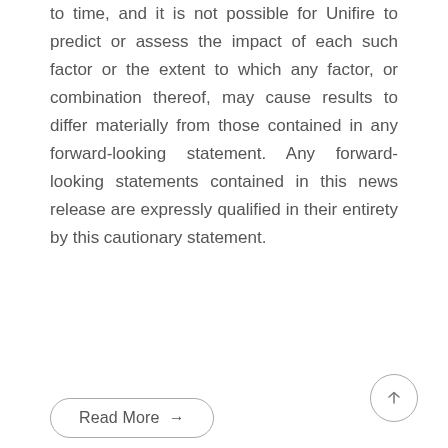to time, and it is not possible for Unifire to predict or assess the impact of each such factor or the extent to which any factor, or combination thereof, may cause results to differ materially from those contained in any forward-looking statement. Any forward-looking statements contained in this news release are expressly qualified in their entirety by this cautionary statement.
Read More →